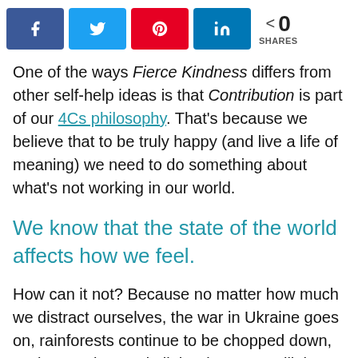[Figure (infographic): Social media sharing buttons: Facebook (blue), Twitter (light blue), Pinterest (red), LinkedIn (blue), and a share count showing 0 SHARES]
One of the ways Fierce Kindness differs from other self-help ideas is that Contribution is part of our 4Cs philosophy. That's because we believe that to be truly happy (and live a life of meaning) we need to do something about what's not working in our world.
We know that the state of the world affects how we feel.
How can it not? Because no matter how much we distract ourselves, the war in Ukraine goes on, rainforests continue to be chopped down, sexism, racism and all the -isms are still there, the pandemic hovers in